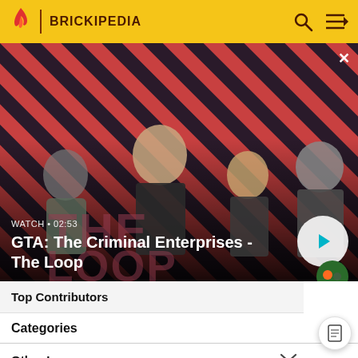BRICKIPEDIA
[Figure (screenshot): GTA: The Criminal Enterprises - The Loop video thumbnail showing four characters against a red striped background. A play button is visible in the lower right of the thumbnail. Text overlay reads 'WATCH • 02:53' and 'GTA: The Criminal Enterprises - The Loop'.]
Top Contributors
Categories
Other Languages: